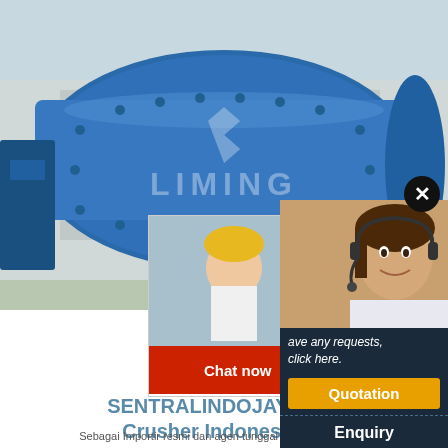[Figure (photo): Large blue industrial ball mill machinery with Liming brand logo watermark, photographed outdoors]
[Figure (photo): Live chat popup showing workers in yellow hard hats and text 'LIVE CHAT - Click for a Free Consultation' with Chat now and Chat later buttons]
[Figure (photo): Right sidebar with customer service representative wearing headset, Quotation button, Enquiry section, and email limingjlmofen@sina.com]
SENTRALINDOJAYA - Crusher Indonesia
Sebagai Importir resmi dan agen tunggal mesin pe... STONE/ JAW CRUSHER merk BEST yang terbukti s... tahan lama terkuat di Indonesia dengan harga par... CRUSHER sebagai supplier siap dengan suku cadang crusher batu